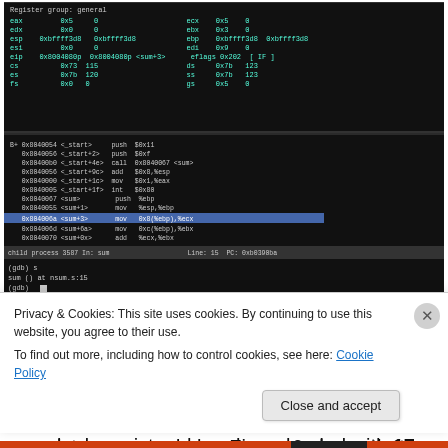[Figure (screenshot): Terminal/debugger screenshot showing register values and assembly code with GDB debugger output on black background]
Figure-8
Our code has passed values 17 and 15 to the stack and in sum function we are copying these values to General puspose registers ecx and ebx. Figure-9 shows that ecx and edx registers have been loaded with 17 and 15 as
Privacy & Cookies: This site uses cookies. By continuing to use this website, you agree to their use.
To find out more, including how to control cookies, see here: Cookie Policy
Close and accept